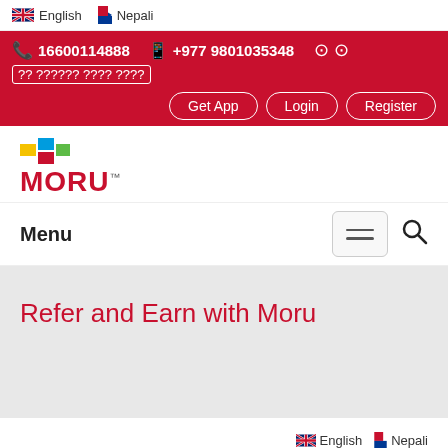English   Nepali
16600114888   +977 9801035348
?? ?????? ???? ????
Get App   Login   Register
[Figure (logo): MORU logo with colorful icon blocks and red MORU wordmark with TM symbol]
Menu
Refer and Earn with Moru
English   Nepali
Refer &